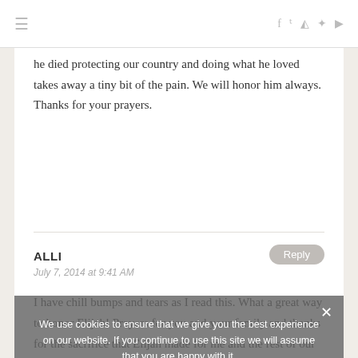≡  f  t  [instagram]  [pinterest]  [youtube]
he died protecting our country and doing what he loved takes away a tiny bit of the pain. We will honor him always. Thanks for your prayers.
ALLI
July 7, 2014 at 9:41 AM
I have chill bumps and tears as I read this. What a great way to honor Elijah! Prayers for you and your family and thanks for the sacrifice that Elijah made for me and the rest of our country – a real hero!
We use cookies to ensure that we give you the best experience on our website. If you continue to use this site we will assume that you are happy with it.
Ok